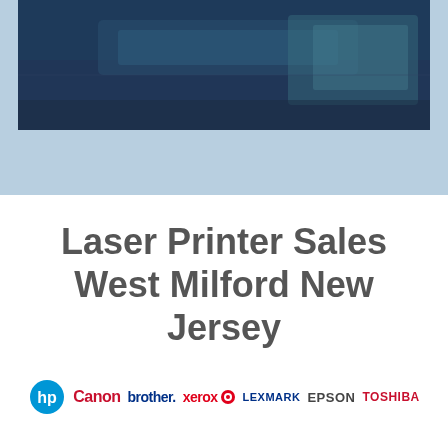[Figure (photo): Photo of a printer or office equipment, shown at the top of the page with a dark blue-teal color overlay]
Laser Printer Sales West Milford New Jersey
[Figure (logo): Brand logos row: HP, Canon, Brother, Xerox, Lexmark, Epson, Toshiba]